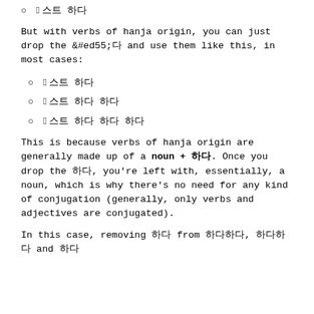하다 (Korean characters)
But with verbs of hanja origin, you can just drop the 하다 and use them like this, in most cases:
공부 하다 (Korean characters)
공부 열심히 하다 (Korean characters)
공부 많이 많이 해요 (Korean characters)
This is because verbs of hanja origin are generally made up of a noun + 하다. Once you drop the 하다, you're left with, essentially, a noun, which is why there's no need for any kind of conjugation (generally, only verbs and adjectives are conjugated).
In this case, removing 하다 from 공부하다, 운동하다 and 공부